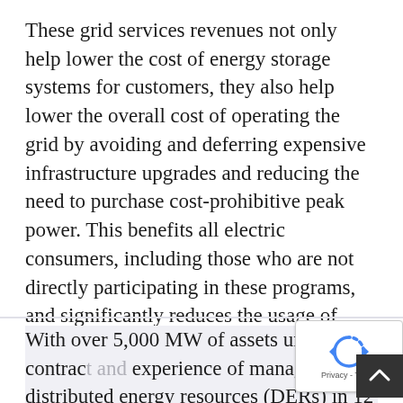These grid services revenues not only help lower the cost of energy storage systems for customers, they also help lower the overall cost of operating the grid by avoiding and deferring expensive infrastructure upgrades and reducing the need to purchase cost-prohibitive peak power. This benefits all electric consumers, including those who are not directly participating in these programs, and significantly reduces the usage of fossil fuel power plants.
With over 5,000 MW of assets under contract and experience of managing distributed energy resources (DERs) in 12 countries, AutoGrid is the leading provider of flexibility management solutions globally. AutoGrid Flex is ranked as the #1